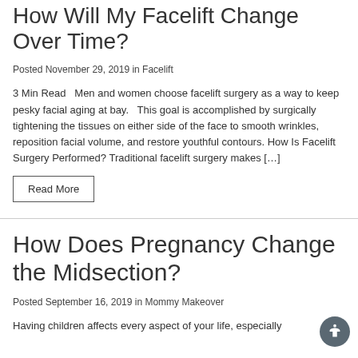How Will My Facelift Change Over Time?
Posted November 29, 2019 in Facelift
3 Min Read   Men and women choose facelift surgery as a way to keep pesky facial aging at bay.   This goal is accomplished by surgically tightening the tissues on either side of the face to smooth wrinkles, reposition facial volume, and restore youthful contours. How Is Facelift Surgery Performed? Traditional facelift surgery makes […]
Read More
How Does Pregnancy Change the Midsection?
Posted September 16, 2019 in Mommy Makeover
Having children affects every aspect of your life, especially